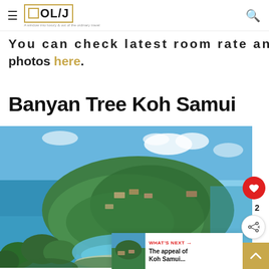OL/J — A window into luxury & out of the ordinary travel
You can check latest room rate and photos here.
Banyan Tree Koh Samui
[Figure (photo): Aerial view of Banyan Tree Koh Samui resort on a lush green hillside peninsula surrounded by turquoise sea, with villa rooftops visible among tropical vegetation and a curved bay below]
WHAT'S NEXT → The appeal of Koh Samui...